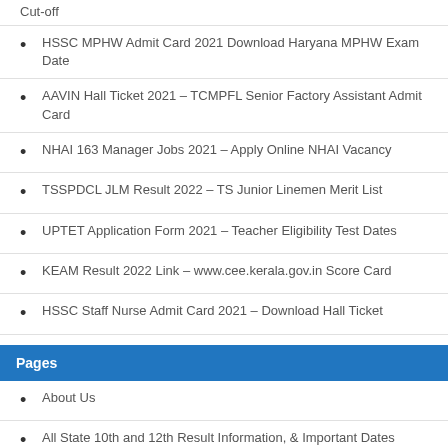Cut-off
HSSC MPHW Admit Card 2021 Download Haryana MPHW Exam Date
AAVIN Hall Ticket 2021 – TCMPFL Senior Factory Assistant Admit Card
NHAI 163 Manager Jobs 2021 – Apply Online NHAI Vacancy
TSSPDCL JLM Result 2022 – TS Junior Linemen Merit List
UPTET Application Form 2021 – Teacher Eligibility Test Dates
KEAM Result 2022 Link – www.cee.kerala.gov.in Score Card
HSSC Staff Nurse Admit Card 2021 – Download Hall Ticket
Pages
About Us
All State 10th and 12th Result Information, & Important Dates